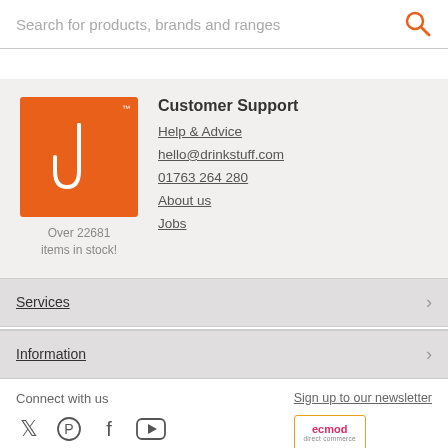Search for products, brands and ranges
[Figure (logo): Drinkstuff orange logo square with white U-shaped hook icon and TM mark, with text 'Over 22681 items in stock!']
Customer Support
Help & Advice
hello@drinkstuff.com
01763 264 280
About us
Jobs
Services
Information
Connect with us
Sign up to our newsletter
[Figure (logo): ecmod direct commerce logo]